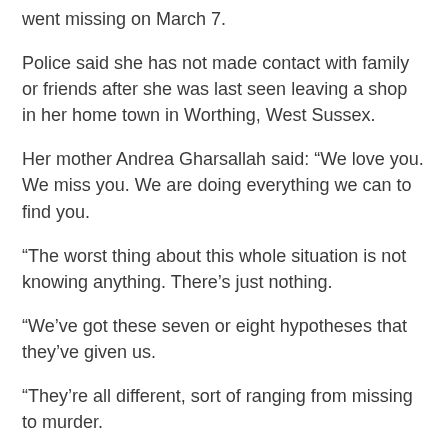went missing on March 7.
Police said she has not made contact with family or friends after she was last seen leaving a shop in her home town in Worthing, West Sussex.
Her mother Andrea Gharsallah said: “We love you. We miss you. We are doing everything we can to find you.
“The worst thing about this whole situation is not knowing anything. There’s just nothing.
“We’ve got these seven or eight hypotheses that they’ve given us.
“They’re all different, sort of ranging from missing to murder.
Related Posts